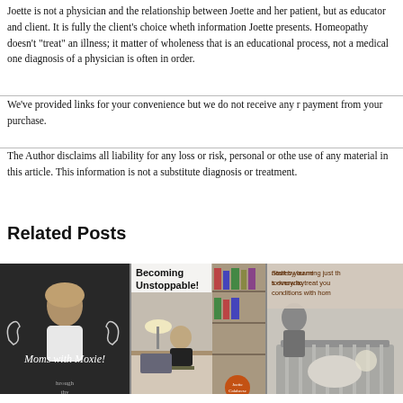Joette is not a physician and the relationship between Joette and her patient, but as educator and client. It is fully the client's choice wheth information Joette presents. Homeopathy doesn't "treat" an illness; it matter of wholeness that is an educational process, not a medical one diagnosis of a physician is often in order.
We've provided links for your convenience but we do not receive any payment from your purchase.
The Author disclaims all liability for any loss or risk, personal or other use of any material in this article. This information is not a substitute diagnosis or treatment.
Related Posts
[Figure (photo): Moms with Moxie! - woman smiling on dark chalkboard background with muscle flex chalk drawings]
[Figure (photo): Becoming Unstoppable! - woman working at desk in an office with bookshelves]
[Figure (photo): Start by learning just the remedies you need to know to treat your everyday conditions with homeopathy - vintage black and white photo of medical scene]